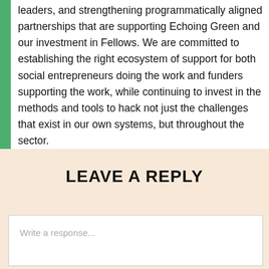leaders, and strengthening programmatically aligned partnerships that are supporting Echoing Green and our investment in Fellows. We are committed to establishing the right ecosystem of support for both social entrepreneurs doing the work and funders supporting the work, while continuing to invest in the methods and tools to hack not just the challenges that exist in our own systems, but throughout the sector.
LEAVE A REPLY